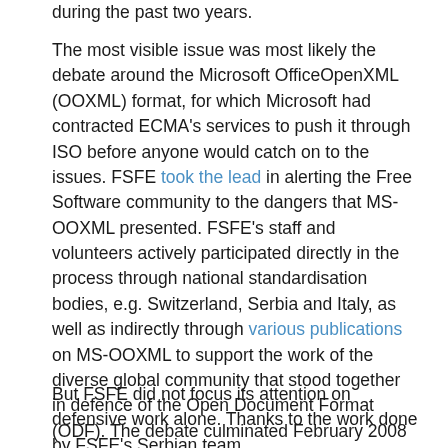during the past two years.
The most visible issue was most likely the debate around the Microsoft OfficeOpenXML (OOXML) format, for which Microsoft had contracted ECMA's services to push it through ISO before anyone would catch on to the issues. FSFE took the lead in alerting the Free Software community to the dangers that MS-OOXML presented. FSFE's staff and volunteers actively participated directly in the process through national standardisation bodies, e.g. Switzerland, Serbia and Italy, as well as indirectly through various publications on MS-OOXML to support the work of the diverse global community that stood together in defence of the Open Document Format (ODF). The debate culminated February 2008 around the MS-OOXML Ballot Resolution Meeting (BRM), where FSFE's Freedom Task Force Coordinator Shane Coughlan coordinated the activities to highlight the many critical flaws in the MS-OOXML format.
But FSFE did not focus its attention on defensive work alone. Thanks to the work done by FSFE's Serbian team,